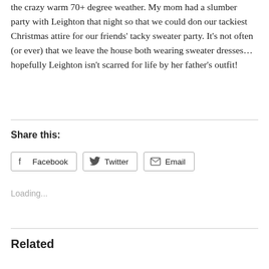the crazy warm 70+ degree weather. My mom had a slumber party with Leighton that night so that we could don our tackiest Christmas attire for our friends' tacky sweater party. It's not often (or ever) that we leave the house both wearing sweater dresses… hopefully Leighton isn't scarred for life by her father's outfit!
Share this:
Facebook  Twitter  Email
Loading...
Related